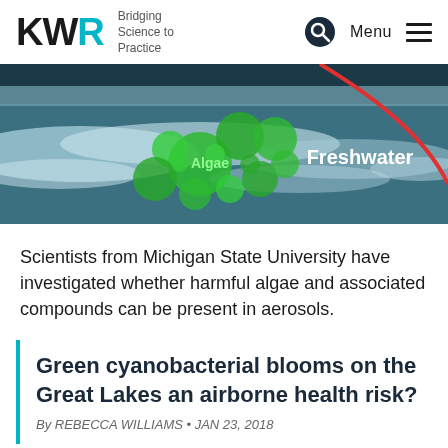KWR • Bridging Science to Practice • Menu
[Figure (photo): Banner image of freshwater waves with overlaid green circles labeled 'Algae' and text 'Freshwater' with a red curve, representing cyanobacterial blooms on the Great Lakes.]
Scientists from Michigan State University have investigated whether harmful algae and associated compounds can be present in aerosols.
Green cyanobacterial blooms on the Great Lakes an airborne health risk?
By REBECCA WILLIAMS • JAN 23, 2018